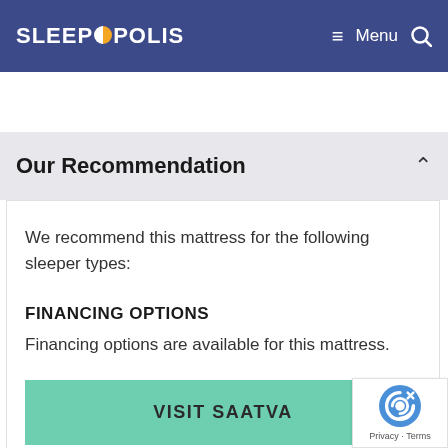SLEEPOPOLIS  Menu
Our Recommendation
We recommend this mattress for the following sleeper types:
FINANCING OPTIONS
Financing options are available for this mattress.
VISIT SAATVA